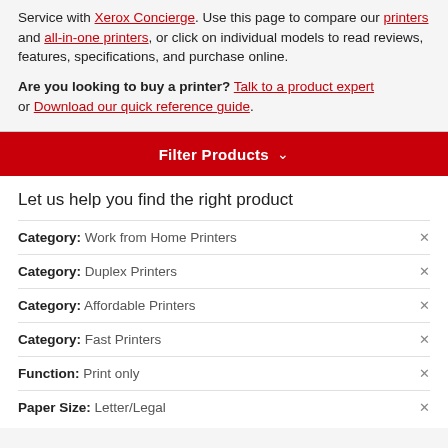Service with Xerox Concierge. Use this page to compare our printers and all-in-one printers, or click on individual models to read reviews, features, specifications, and purchase online.
Are you looking to buy a printer? Talk to a product expert or Download our quick reference guide.
Filter Products
Let us help you find the right product
Category: Work from Home Printers
Category: Duplex Printers
Category: Affordable Printers
Category: Fast Printers
Function: Print only
Paper Size: Letter/Legal